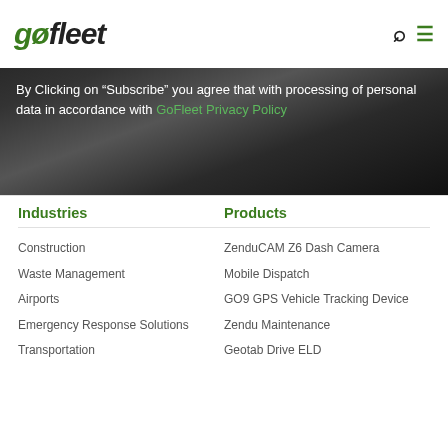gofleet
By Clicking on "Subscribe" you agree that with processing of personal data in accordance with GoFleet Privacy Policy
Industries
Products
Construction
Waste Management
Airports
Emergency Response Solutions
Transportation
ZenduCAM Z6 Dash Camera
Mobile Dispatch
GO9 GPS Vehicle Tracking Device
Zendu Maintenance
Geotab Drive ELD